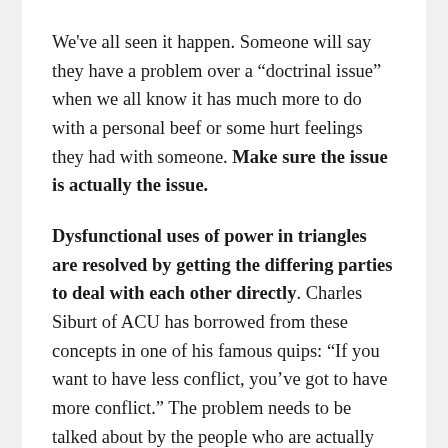We've all seen it happen. Someone will say they have a problem over a “doctrinal issue” when we all know it has much more to do with a personal beef or some hurt feelings they had with someone. Make sure the issue is actually the issue.
Dysfunctional uses of power in triangles are resolved by getting the differing parties to deal with each other directly. Charles Siburt of ACU has borrowed from these concepts in one of his famous quips: “If you want to have less conflict, you’ve got to have more conflict.” The problem needs to be talked about by the people who are actually having the problem. Not